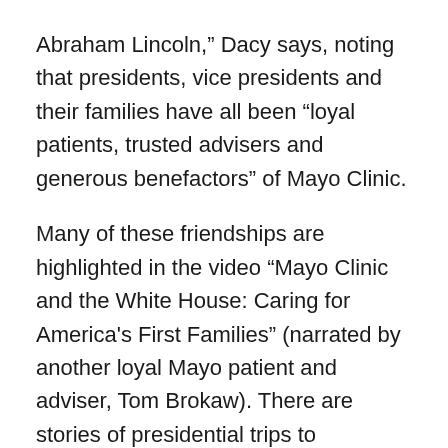Abraham Lincoln," Dacy says, noting that presidents, vice presidents and their families have all been "loyal patients, trusted advisers and generous benefactors" of Mayo Clinic.
Many of these friendships are highlighted in the video "Mayo Clinic and the White House: Caring for America's First Families" (narrated by another loyal Mayo patient and adviser, Tom Brokaw). There are stories of presidential trips to Rochester, and house calls to 1600 Pennsylvania Avenue. (One Mayo physician was at the White House so frequently that he kept clothes in a closet there.) Another physician, Dr. George Eusterman, was invited to bring his family